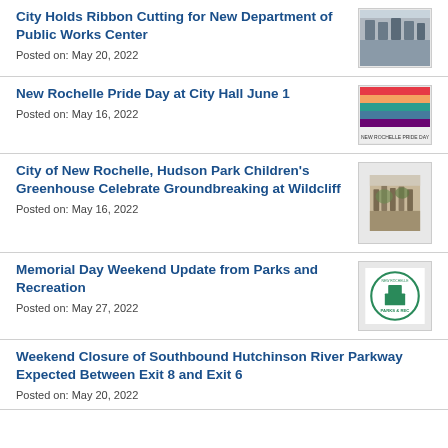City Holds Ribbon Cutting for New Department of Public Works Center
Posted on: May 20, 2022
[Figure (photo): Group photo at ribbon cutting event]
New Rochelle Pride Day at City Hall June 1
Posted on: May 16, 2022
[Figure (photo): New Rochelle Pride Day colorful flyer]
City of New Rochelle, Hudson Park Children's Greenhouse Celebrate Groundbreaking at Wildcliff
Posted on: May 16, 2022
[Figure (photo): Groundbreaking ceremony at Wildcliff outdoor site]
Memorial Day Weekend Update from Parks and Recreation
Posted on: May 27, 2022
[Figure (logo): New Rochelle Parks and Recreation logo]
Weekend Closure of Southbound Hutchinson River Parkway Expected Between Exit 8 and Exit 6
Posted on: May 20, 2022